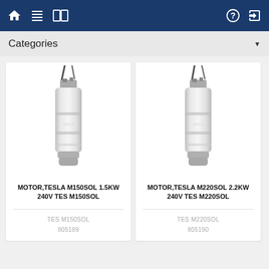Navigation bar with home, list, book icons and help, login icons
Categories
[Figure (photo): Submersible pump motor, stainless steel cylindrical body with cable at top - MOTOR,TESLA M150SOL 1.5KW 240V TES M150SOL]
MOTOR,TESLA M150SOL 1.5KW 240V TES M150SOL
TES M150SOL
805189
[Figure (photo): Submersible pump motor, stainless steel cylindrical body with cable at top - MOTOR,TESLA M220SOL 2.2KW 240V TES M220SOL]
MOTOR,TESLA M220SOL 2.2KW 240V TES M220SOL
TES M220SOL
805190